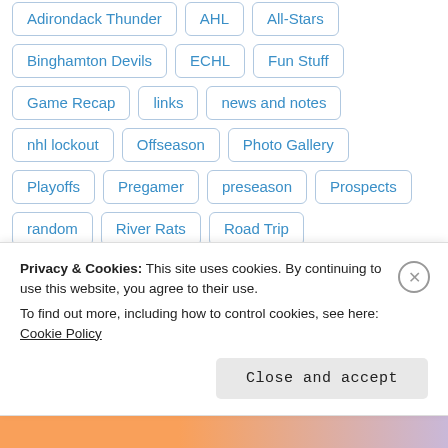Adirondack Thunder
AHL
All-Stars
Binghamton Devils
ECHL
Fun Stuff
Game Recap
links
news and notes
nhl lockout
Offseason
Photo Gallery
Playoffs
Pregamer
preseason
Prospects
random
River Rats
Road Trip
Rochester Americans
Roster Moves
Schedule
Stats
Syracuse Crunch
Training Camp
Privacy & Cookies: This site uses cookies. By continuing to use this website, you agree to their use.
To find out more, including how to control cookies, see here: Cookie Policy
Close and accept